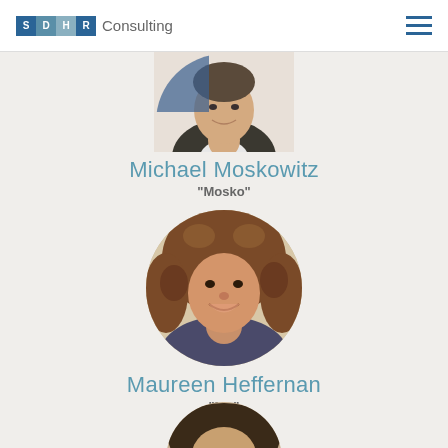SDHR Consulting
[Figure (photo): Circular profile photo of Michael Moskowitz, a man in a blazer, partially cropped at top]
Michael Moskowitz
"Mosko"
[Figure (photo): Circular profile photo of Maureen Heffernan, a woman with curly brown hair, smiling]
Maureen Heffernan
"Mo"
[Figure (photo): Partial circular profile photo of a third person, cropped at bottom of page]